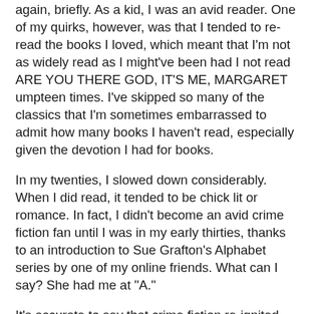again, briefly. As a kid, I was an avid reader. One of my quirks, however, was that I tended to re-read the books I loved, which meant that I'm not as widely read as I might've been had I not read ARE YOU THERE GOD, IT'S ME, MARGARET umpteen times. I've skipped so many of the classics that I'm sometimes embarrassed to admit how many books I haven't read, especially given the devotion I had for books.
In my twenties, I slowed down considerably. When I did read, it tended to be chick lit or romance. In fact, I didn't become an avid crime fiction fan until I was in my early thirties, thanks to an introduction to Sue Grafton's Alphabet series by one of my online friends. What can I say? She had me at "A."
It's accurate to say that crime fiction re-ignited my love for reading and now you'll never see me without a book (well, my kindle).
Once I discovered crime fiction, it didn't take me long to get around to reading true crime. Up until that point, I still hadn't